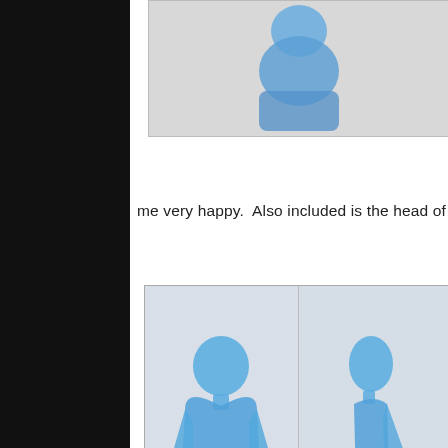[Figure (photo): Top partial view of a translucent blue superhero action figure against a light background, shown from approximately waist up. Image is cropped at the top of the page.]
me very happy.  Also included is the head of the Ursa M
[Figure (photo): Two side-by-side photos of a translucent blue superhero action figure. Left photo shows the figure from the front; right photo shows the figure from the side profile. Both against a light background. Watermark visible at bottom.]
Advertisements
[Figure (screenshot): DuckDuckGo advertisement banner. Left side orange/red background with white text: 'Search, browse, and email with more privacy. All in One Free App'. Right side dark background with DuckDuckGo duck logo and brand name.]